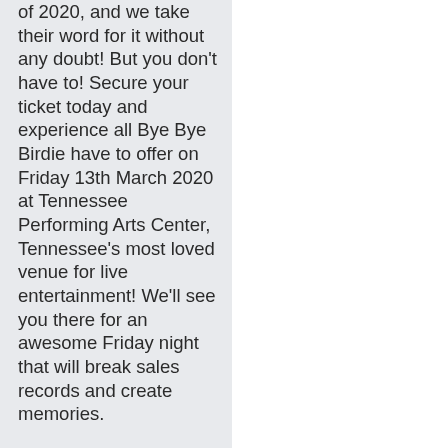of 2020, and we take their word for it without any doubt! But you don't have to! Secure your ticket today and experience all Bye Bye Birdie have to offer on Friday 13th March 2020 at Tennessee Performing Arts Center, Tennessee's most loved venue for live entertainment! We'll see you there for an awesome Friday night that will break sales records and create memories.